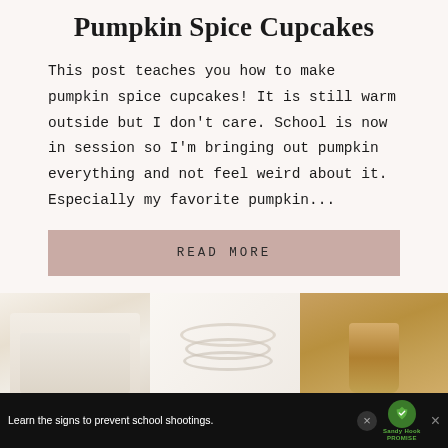Pumpkin Spice Cupcakes
This post teaches you how to make pumpkin spice cupcakes! It is still warm outside but I don't care. School is now in session so I'm bringing out pumpkin everything and not feel weird about it. Especially my favorite pumpkin...
READ MORE
[Figure (photo): Image strip showing a cream knit sweater, white bead necklace/bracelet, and wicker vase]
Learn the signs to prevent school shootings.